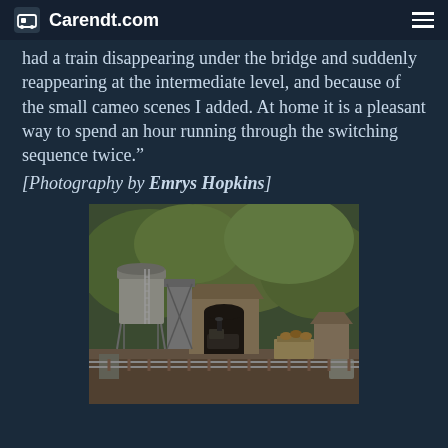Carendt.com
had a train disappearing under the bridge and suddenly reappearing at the intermediate level, and because of the small cameo scenes I added. At home it is a pleasant way to spend an hour running through the switching sequence twice."
[Photography by Emrys Hopkins]
[Figure (photo): Model railway scene showing a small industrial layout with a water tower, coal tipple structure, tunnel entrance, locomotive, and various freight cars surrounded by green foliage scenery]